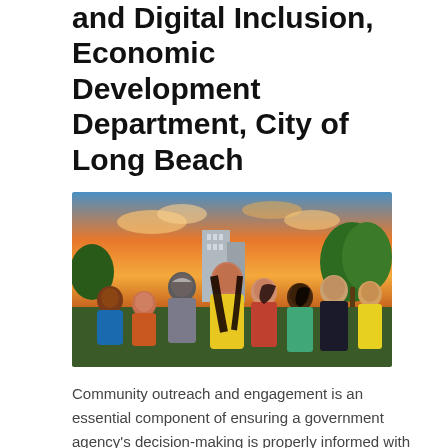and Digital Inclusion, Economic Development Department, City of Long Beach
[Figure (illustration): A colorful mural painting depicting a diverse group of people — adults and children of various ethnicities — standing together under an orange sunset sky with city buildings and green trees in the background.]
Community outreach and engagement is an essential component of ensuring a government agency's decision-making is properly informed with the community's input. Community